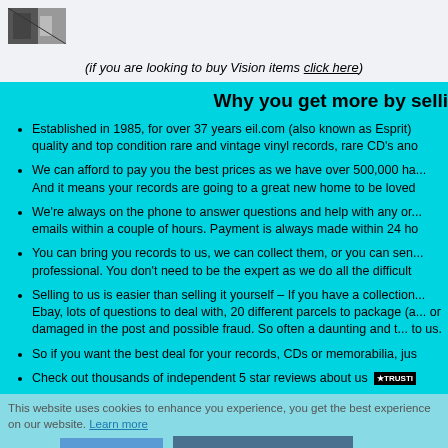[Figure (photo): Small thumbnail image of people or records in top left corner]
(if you are looking to buy Vision items click here)
Why you get more by selli...
Established in 1985, for over 37 years eil.com (also known as Esprit) quality and top condition rare and vintage vinyl records, rare CD's and...
We can afford to pay you the best prices as we have over 500,000 ha... And it means your records are going to a great new home to be loved...
We're always on the phone to answer questions and help with any or... emails within a couple of hours. Payment is always made within 24 ho...
You can bring you records to us, we can collect them, or you can sen... professional. You don't need to be the expert as we do all the difficult...
Selling to us is easier than selling it yourself – If you have a collection... Ebay, lots of questions to deal with, 20 different parcels to package (a... or damaged in the post and possible fraud. So often a daunting and t... to us.
So if you want the best deal for your records, CDs or memorabilia, jus...
Check out thousands of independent 5 star reviews about us [TRUSTPILOT]
[Figure (photo): Photo of two people holding vinyl records]
Got it!